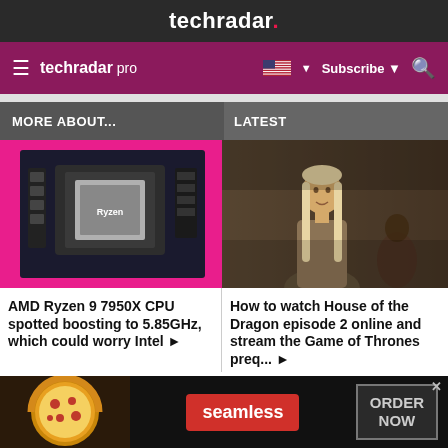techradar.
techradar pro  Subscribe
MORE ABOUT...
LATEST
[Figure (photo): AMD Ryzen CPU on a motherboard with pink background]
AMD Ryzen 9 7950X CPU spotted boosting to 5.85GHz, which could worry Intel ▶
[Figure (photo): Blonde woman in medieval costume, scene from House of the Dragon]
How to watch House of the Dragon episode 2 online and stream the Game of Thrones preq... ▶
[Figure (infographic): Seamless food delivery advertisement banner with pizza image, seamless logo and ORDER NOW button]